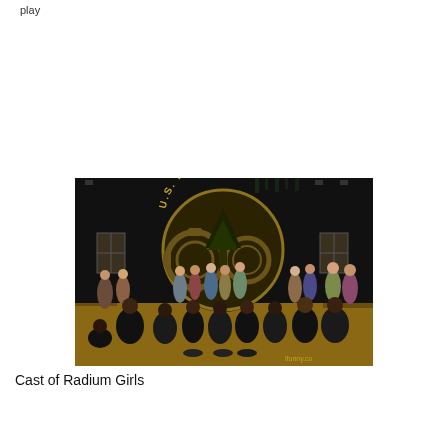play
[Figure (photo): Group photo of the cast of the theatrical production 'Radium Girls' on stage. The stage backdrop features a large circular U.S. Radium logo with gear/cog imagery. Cast members in period costumes are posed on stage steps and floor, with crew in black in the foreground. A watermark reads 'ifunny.co' in the bottom right corner.]
Cast of Radium Girls